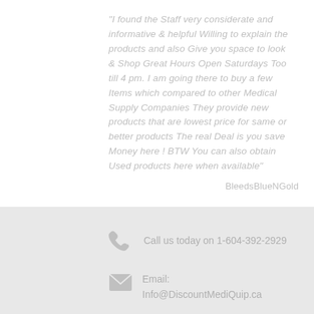"I found the Staff very considerate and informative & helpful Willing to explain the products and also Give you space to look & Shop Great Hours Open Saturdays Too till 4 pm. I am going there to buy a few Items which compared to other Medical Supply Companies They provide new products that are lowest price for same or better products The real Deal is you save Money here ! BTW You can also obtain Used products here when available"
BleedsBlueNGold
Call us today on 1-604-392-2929
Email:
Info@DiscountMediQuip.ca